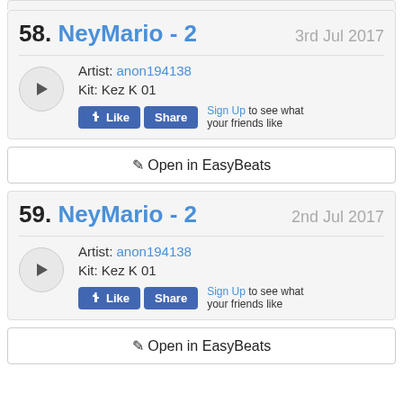58. NeyMario - 2   3rd Jul 2017
Artist: anon194138
Kit: Kez K 01
Open in EasyBeats
59. NeyMario - 2   2nd Jul 2017
Artist: anon194138
Kit: Kez K 01
Open in EasyBeats